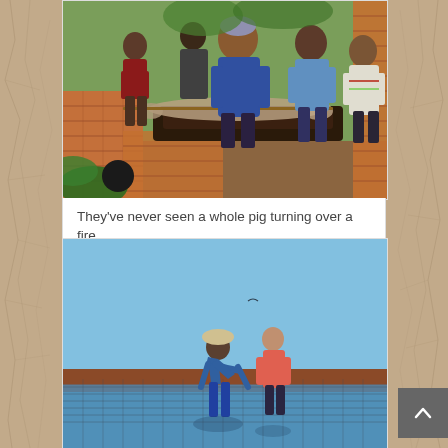[Figure (photo): Group of people gathered around a construction site with bricks and what appears to be a pig roasting on a fire. Outdoor daytime scene in Africa.]
They've never seen a whole pig turning over a fire
[Figure (photo): Two workers at what appears to be a fish pond or aquaculture facility, bending over the edge of a large rectangular pond under a clear blue sky.]